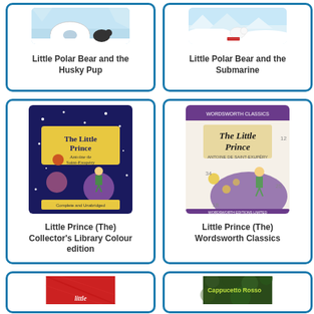[Figure (illustration): Book cover for 'Little Polar Bear and the Husky Pup' showing arctic scene with igloo]
Little Polar Bear and the Husky Pup
[Figure (illustration): Book cover for 'Little Polar Bear and the Submarine' showing snowy arctic scene]
Little Polar Bear and the Submarine
[Figure (illustration): Book cover for 'The Little Prince - Collector's Library Colour edition' showing dark blue cover with the Little Prince on a planet]
Little Prince (The) Collector's Library Colour edition
[Figure (illustration): Book cover for 'The Little Prince - Wordsworth Classics' showing the Little Prince on a purple planet]
Little Prince (The) Wordsworth Classics
[Figure (illustration): Partial book cover at bottom left, red colored]
[Figure (illustration): Partial book cover at bottom right showing green text]